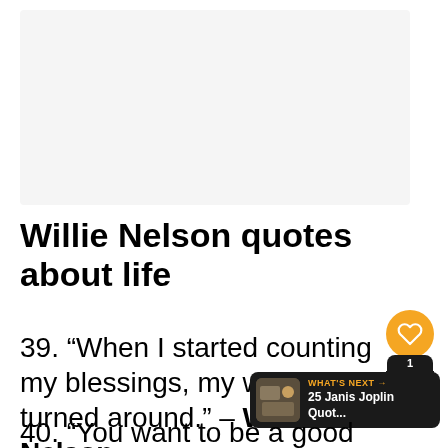[Figure (other): Gray advertisement placeholder area]
Willie Nelson quotes about life
39. “When I started counting my blessings, my whole life turned around.” – Willie Nelson
40. “You want to be a good parent